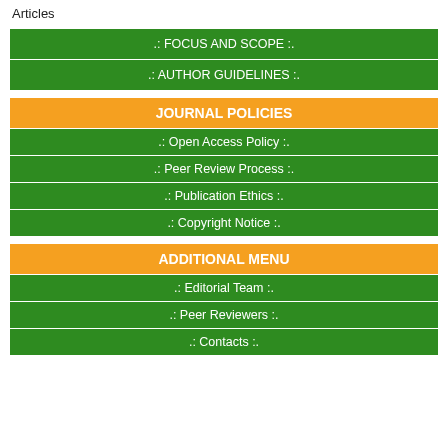Articles
.: FOCUS AND SCOPE :.
.: AUTHOR GUIDELINES :.
JOURNAL POLICIES
.: Open Access Policy :.
.: Peer Review Process :.
.: Publication Ethics :.
.: Copyright Notice :.
ADDITIONAL MENU
.: Editorial Team :.
.: Peer Reviewers :.
.: Contacts :.